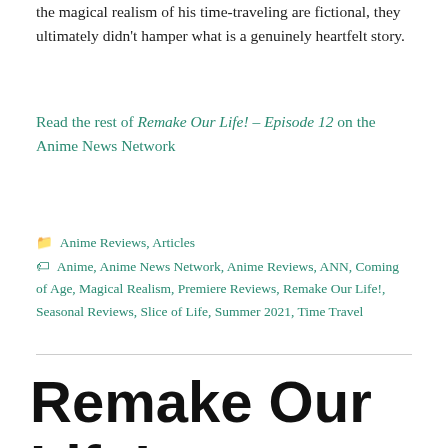the magical realism of his time-traveling are fictional, they ultimately didn't hamper what is a genuinely heartfelt story.
Read the rest of Remake Our Life! – Episode 12 on the Anime News Network
Anime Reviews, Articles
Anime, Anime News Network, Anime Reviews, ANN, Coming of Age, Magical Realism, Premiere Reviews, Remake Our Life!, Seasonal Reviews, Slice of Life, Summer 2021, Time Travel
Remake Our Life! – Episode 10 & 11